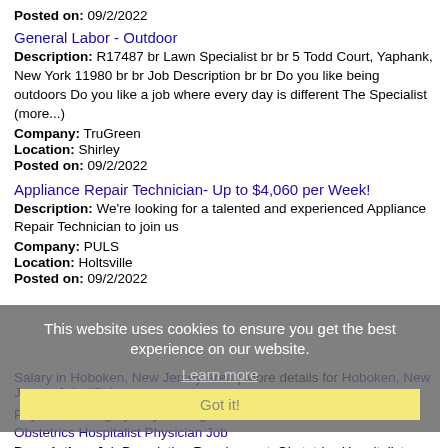Posted on: 09/2/2022
General Labor - Outdoor
Description: R17487 br Lawn Specialist br br 5 Todd Court, Yaphank, New York 11980 br br Job Description br br Do you like being outdoors Do you like a job where every day is different The Specialist (more...)
Company: TruGreen
Location: Shirley
Posted on: 09/2/2022
Appliance Repair Technician- Up to $4,060 per Week!
Description: We're looking for a talented and experienced Appliance Repair Technician to join us
Company: PULS
Location: Holtsville
Posted on: 09/2/2022
This website uses cookies to ensure you get the best experience on our website.
Learn more
Got it!
Salary in Hoboken, New Jersey Area | More details for Hoboken, New Jersey Jobs |Salary
Physician / Surgery - Gynecological / New York / Locum tenens / Obstetrics Hospitalist Physician Job
Description: Job Description RequirementsObstetrics Hospitalist